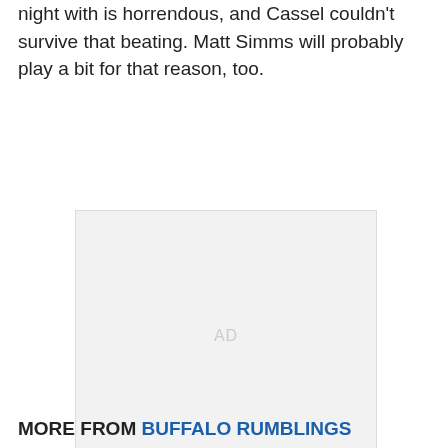night with is horrendous, and Cassel couldn't survive that beating. Matt Simms will probably play a bit for that reason, too.
[Figure (other): Advertisement placeholder box with 'AD' label in light gray]
MORE FROM BUFFALO RUMBLINGS